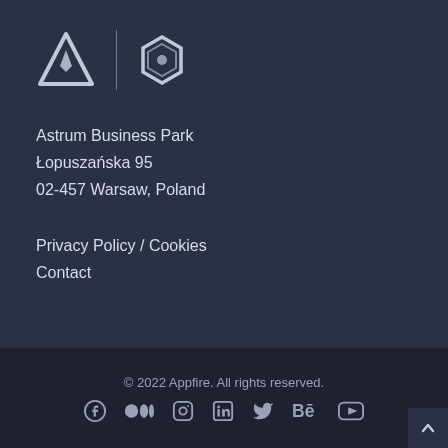[Figure (logo): Appfire dual logo: triangle/delta symbol and hexagon symbol separated by a vertical divider line]
Astrum Business Park
Łopuszańska 95
02-457 Warsaw, Poland
Privacy Policy / Cookies
Contact
© 2022 Appfire. All rights reserved.
[Figure (other): Social media icons row: Facebook, Medium, Instagram, LinkedIn, Twitter, Behance, YouTube]